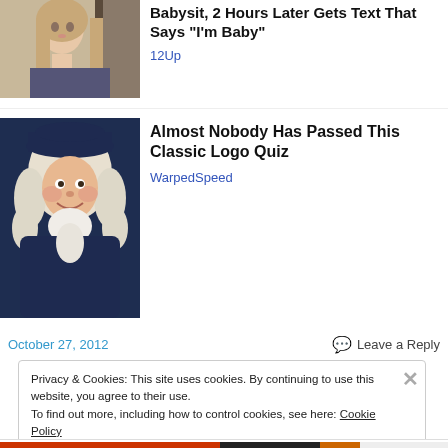[Figure (photo): Thumbnail of a teenage girl with long blonde hair, neutral expression, indoor background.]
Babysit, 2 Hours Later Gets Text That Says "I'm Baby"
12Up
[Figure (illustration): Illustrated portrait of a colonial-style man wearing a dark hat and white powdered wig, smiling — resembling a logo mascot.]
Almost Nobody Has Passed This Classic Logo Quiz
WarpedSpeed
October 27, 2012
💬 Leave a Reply
Privacy & Cookies: This site uses cookies. By continuing to use this website, you agree to their use.
To find out more, including how to control cookies, see here: Cookie Policy
Close and accept